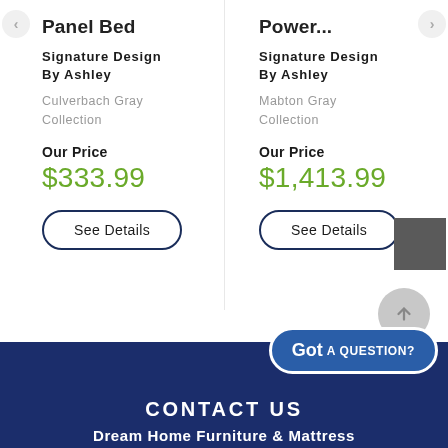Panel Bed
Signature Design By Ashley
Culverbach Gray Collection
Our Price
$333.99
See Details
Power...
Signature Design By Ashley
Mabton Gray Collection
Our Price
$1,413.99
See Details
CONTACT US  Dream Home Furniture & Mattress